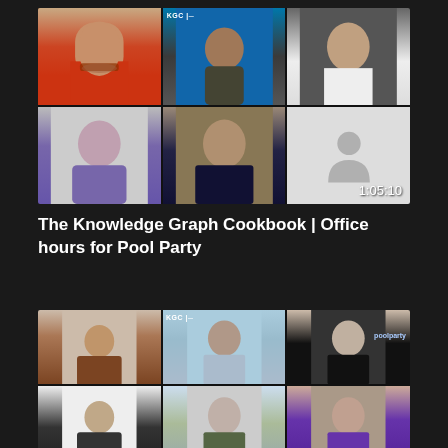[Figure (screenshot): Video conference thumbnail showing 6 participants in a 3x2 grid layout. KGC logo visible. Timestamp 1:05:10 in bottom right corner.]
The Knowledge Graph Cookbook | Office hours for Pool Party
[Figure (screenshot): Second video conference thumbnail showing 7+ participants in a 3x3 grid layout. KGC logo and PoolParty logo visible.]